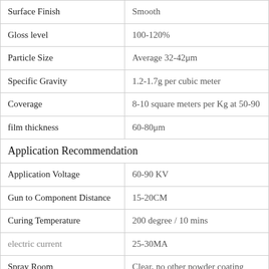| Property | Value |
| --- | --- |
| Surface Finish | Smooth |
| Gloss level | 100-120% |
| Particle Size | Average 32-42μm |
| Specific Gravity | 1.2-1.7g per cubic meter |
| Coverage | 8-10 square meters per Kg at 50-90 |
| film thickness | 60-80μm |
| Application Recommendation |  |
| Application Voltage | 60-90 KV |
| Gun to Component Distance | 15-20CM |
| Curing Temperature | 200 degree / 10 mins |
| electric current | 25-30MA |
| Spray Room | Clear, no other powder coating |
| Air pressure | Appropriate |
| Pretreatment / Film Mechanical Properties |  |